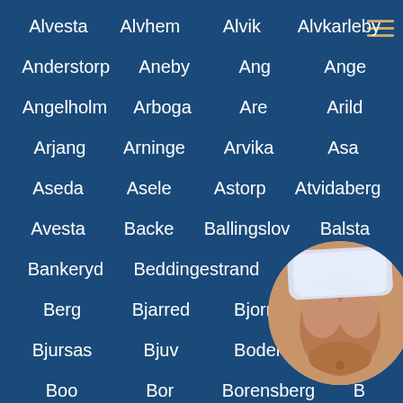Alvesta   Alvhem   Alvik   Alvkarleby
Anderstorp   Aneby   Ang   Ange
Angelholm   Arboga   Are   Arild
Arjang   Arninge   Arvika   Asa
Aseda   Asele   Astorp   Atvidaberg
Avesta   Backe   Ballingslov   Balsta
Bankeryd   Beddingestrand   Bengtsfors
Berg   Bjarred   Bjorno   Bjur...
Bjursas   Bjuv   Boden
Boo   Bor   Borensberg   B...
Borlange   Borrby   Boxholm   Bracke